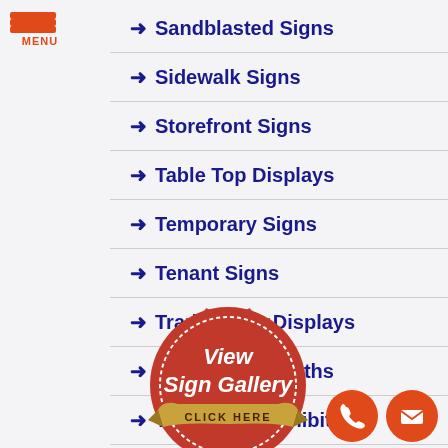[Figure (logo): Hamburger menu icon with three orange bars and MENU label]
Sandblasted Signs
Sidewalk Signs
Storefront Signs
Table Top Displays
Temporary Signs
Tenant Signs
Trade Show Displays
Tradeshow Booths
Tradeshow Exhibits
[Figure (illustration): Red stamp/seal badge with View Sign Gallery text and gold ribbon Click Here banner]
[Figure (illustration): Orange phone button and orange mail envelope button at bottom right]